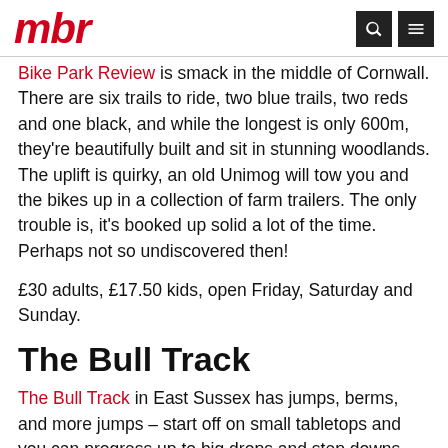mbr
Bike Park Review is smack in the middle of Cornwall. There are six trails to ride, two blue trails, two reds and one black, and while the longest is only 600m, they're beautifully built and sit in stunning woodlands. The uplift is quirky, an old Unimog will tow you and the bikes up in a collection of farm trailers. The only trouble is, it's booked up solid a lot of the time. Perhaps not so undiscovered then!
£30 adults, £17.50 kids, open Friday, Saturday and Sunday.
The Bull Track
The Bull Track in East Sussex has jumps, berms, and more jumps – start off on small tabletops and you can progress up to big drops and step downs, road gaps and wooden kickers.